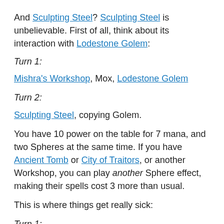And Sculpting Steel? Sculpting Steel is unbelievable. First of all, think about its interaction with Lodestone Golem:
Turn 1:
Mishra's Workshop, Mox, Lodestone Golem
Turn 2:
Sculpting Steel, copying Golem.
You have 10 power on the table for 7 mana, and two Spheres at the same time. If you have Ancient Tomb or City of Traitors, or another Workshop, you can play another Sphere effect, making their spells cost 3 more than usual.
This is where things get really sick:
Turn 1: